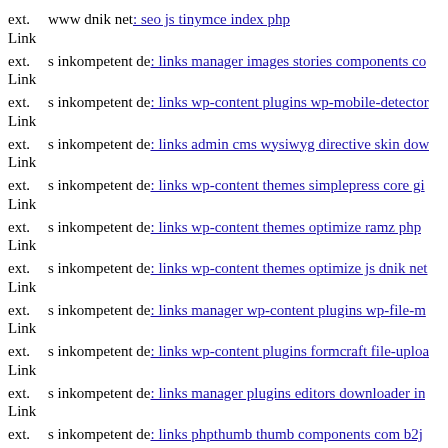ext. Link www dnik net: seo js tinymce index php
ext. Link s inkompetent de: links manager images stories components co
ext. Link s inkompetent de: links wp-content plugins wp-mobile-detector
ext. Link s inkompetent de: links admin cms wysiwyg directive skin dow
ext. Link s inkompetent de: links wp-content themes simplepress core gi
ext. Link s inkompetent de: links wp-content themes optimize ramz php
ext. Link s inkompetent de: links wp-content themes optimize js dnik net
ext. Link s inkompetent de: links manager wp-content plugins wp-file-m
ext. Link s inkompetent de: links wp-content plugins formcraft file-uploa
ext. Link s inkompetent de: links manager plugins editors downloader in
ext. Link s inkompetent de: links phpthumb thumb components com b2j